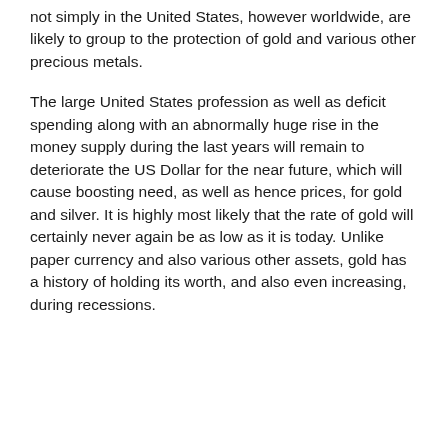not simply in the United States, however worldwide, are likely to group to the protection of gold and various other precious metals.
The large United States profession as well as deficit spending along with an abnormally huge rise in the money supply during the last years will remain to deteriorate the US Dollar for the near future, which will cause boosting need, as well as hence prices, for gold and silver. It is highly most likely that the rate of gold will certainly never again be as low as it is today. Unlike paper currency and also various other assets, gold has a history of holding its worth, and also even increasing, during recessions.